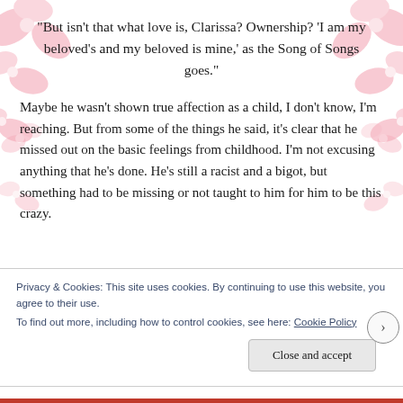“But isn’t that what love is, Clarissa? Ownership? ‘I am my beloved’s and my beloved is mine,’ as the Song of Songs goes.”
Maybe he wasn’t shown true affection as a child, I don’t know, I’m reaching. But from some of the things he said, it’s clear that he missed out on the basic feelings from childhood. I’m not excusing anything that he’s done. He’s still a racist and a bigot, but something had to be missing or not taught to him for him to be this crazy.
Privacy & Cookies: This site uses cookies. By continuing to use this website, you agree to their use.
To find out more, including how to control cookies, see here: Cookie Policy